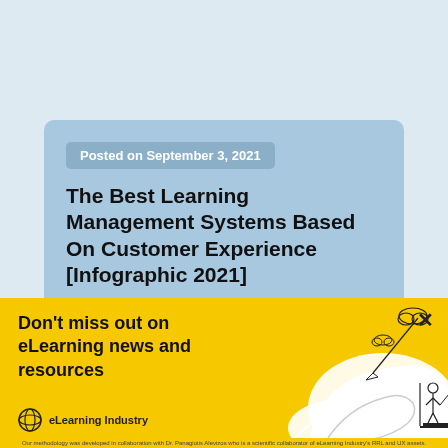Posted on September 3, 2021
The Best Learning Management Systems Based On Customer Experience [Infographic 2021]
[Figure (illustration): Yellow promotional banner with white illustrated hand holding a fishing rod with paper airplane, cloud shapes, and a small figure standing on a platform. Text: Don't miss out on eLearning news and resources. eLearning Industry logo shown.]
Our methodology was developed in collaboration with Dr. Panagiotis Alevizos who is a scientific collaborator of eLearning Industry's RRL and UX assets.